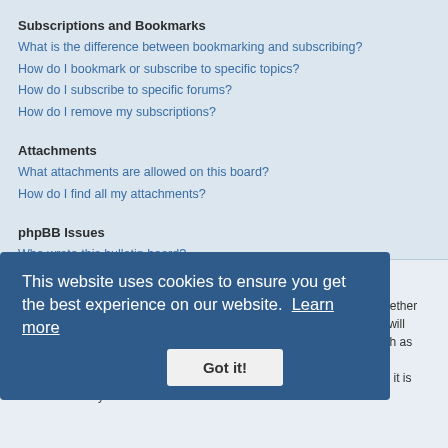Subscriptions and Bookmarks
What is the difference between bookmarking and subscribing?
How do I bookmark or subscribe to specific topics?
How do I subscribe to specific forums?
How do I remove my subscriptions?
Attachments
What attachments are allowed on this board?
How do I find all my attachments?
phpBB Issues
Who wrote this bulletin board?
Why isn't X feature available?
Who do I contact about abusive and/or legal matters related to this board?
How do I contact a board administrator?
Login and Registration Issues
You may not have to, it is up to the administrator of the board as to whether you need to register in order to post messages. However, registration will give you access to additional features not available to guest users such as definable avatar images, private messaging, emailing of fellow users, usergroup subscription, etc. It only takes a few moments to register so it is recommended you do so.
This website uses cookies to ensure you get the best experience on our website. Learn more
Got it!